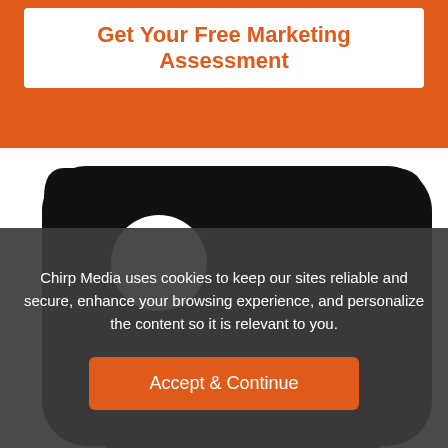Get Your Free Marketing Assessment
[Figure (illustration): A large black price tag icon with a white circular hole near the top-left, displayed on a white background with a dark shadow at the bottom.]
Chirp Media uses cookies to keep our sites reliable and secure, enhance your browsing experience, and personalize the content so it is relevant to you.